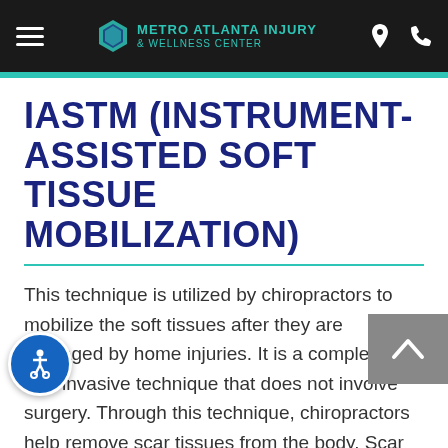Metro Atlanta Injury & Wellness Center
IASTM (INSTRUMENT-ASSISTED SOFT TISSUE MOBILIZATION)
This technique is utilized by chiropractors to mobilize the soft tissues after they are damaged by home injuries. It is a completely non-invasive technique that does not involve surgery. Through this technique, chiropractors help remove scar tissues from the body. Scar tissue is responsible for producing inflammation in different parts of the body. Once they are eliminated, the body starts healing itself at a faster